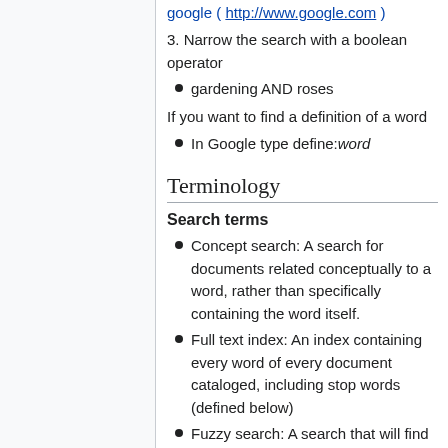google ( http://www.google.com )
3. Narrow the search with a boolean operator
gardening AND roses
If you want to find a definition of a word
In Google type define:word
Terminology
Search terms
Concept search: A search for documents related conceptually to a word, rather than specifically containing the word itself.
Full text index: An index containing every word of every document cataloged, including stop words (defined below)
Fuzzy search: A search that will find matches even when the words are